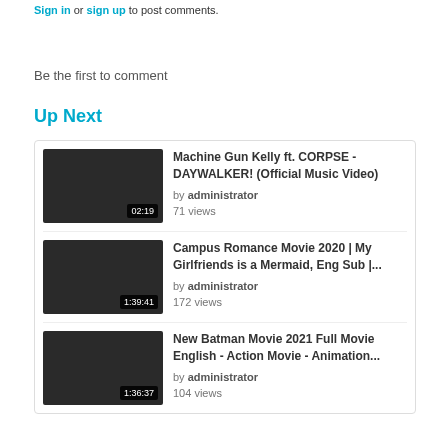Sign in or sign up to post comments.
Be the first to comment
Up Next
Machine Gun Kelly ft. CORPSE - DAYWALKER! (Official Music Video) by administrator 71 views 02:19
Campus Romance Movie 2020 | My Girlfriends is a Mermaid, Eng Sub |... by administrator 172 views 1:39:41
New Batman Movie 2021 Full Movie English - Action Movie - Animation... by administrator 104 views 1:36:37